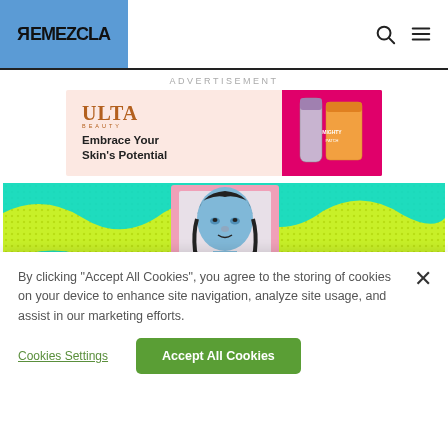REMEZCLA
ADVERTISEMENT
[Figure (illustration): Ulta Beauty advertisement banner with logo and tagline 'Embrace Your Skin's Potential' on a pink background with product images on the right side]
[Figure (illustration): Pop-art style hero image featuring a Mona Lisa-like figure with blue face in a pink frame, on a neon green and cyan wavy dotted background]
By clicking “Accept All Cookies”, you agree to the storing of cookies on your device to enhance site navigation, analyze site usage, and assist in our marketing efforts.
Cookies Settings
Accept All Cookies